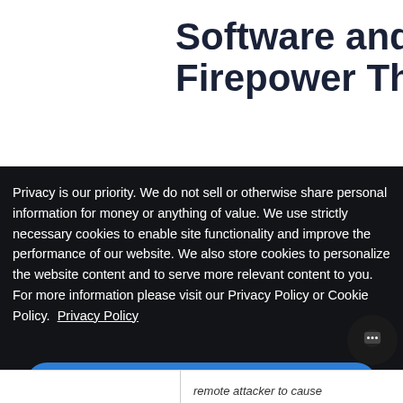Software and Firepower Threat
Privacy is our priority. We do not sell or otherwise share personal information for money or anything of value. We use strictly necessary cookies to enable site functionality and improve the performance of our website. We also store cookies to personalize the website content and to serve more relevant content to you. For more information please visit our Privacy Policy or Cookie Policy.  Privacy Policy
Agree All
remote attacker to cause